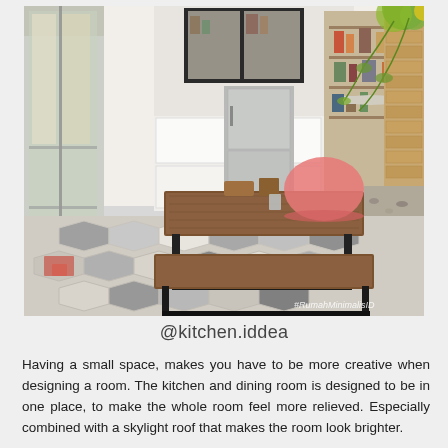[Figure (photo): Interior photo of a modern kitchen and dining area with industrial-style wooden table and bench with black metal frames, hexagonal patterned floor tiles, white cabinetry, stainless steel refrigerator, open shelving, glass partition wall, hanging plants, and a watermark '#RumahMinimalisID' in the bottom right corner.]
@kitchen.iddea
Having a small space, makes you have to be more creative when designing a room. The kitchen and dining room is designed to be in one place, to make the whole room feel more relieved. Especially combined with a skylight roof that makes the room look brighter.